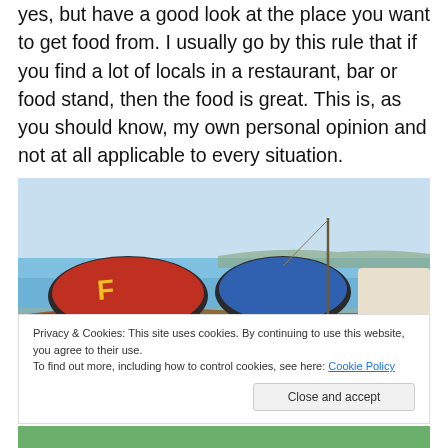yes, but have a good look at the place you want to get food from. I usually go by this rule that if you find a lot of locals in a restaurant, bar or food stand, then the food is great. This is, as you should know, my own personal opinion and not at all applicable to every situation.
[Figure (photo): Colourful boats with canopies resting on a sandy beach with calm blue water and a distant shoreline in the background.]
Privacy & Cookies: This site uses cookies. By continuing to use this website, you agree to their use.
To find out more, including how to control cookies, see here: Cookie Policy